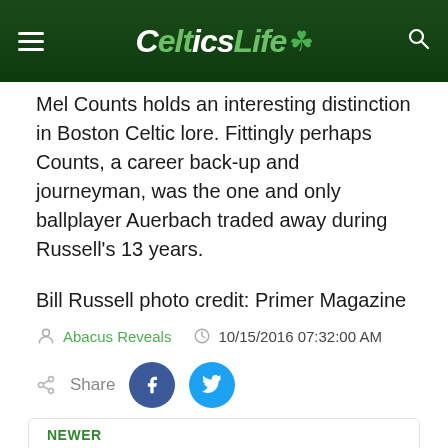CelticsLife
Mel Counts holds an interesting distinction in Boston Celtic lore. Fittingly perhaps Counts, a career back-up and journeyman, was the one and only ballplayer Auerbach traded away during Russell's 13 years.
Bill Russell photo credit: Primer Magazine
Abacus Reveals  10/15/2016 07:32:00 AM
Share
NEWER
VIDEO: TERRY ROZIER TALKS LEADING THE 2ND UNIT